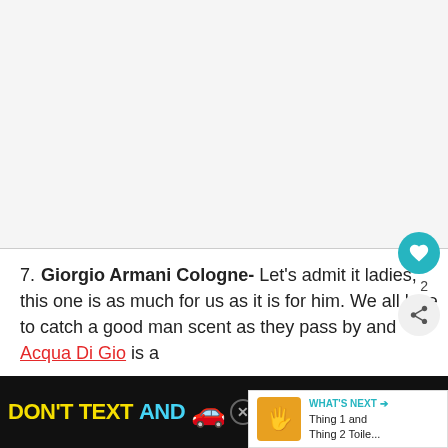[Figure (other): Large blank advertisement placeholder area at top of page]
7. Giorgio Armani Cologne- Let's admit it ladies, this one is as much for us as it is for him. We all love to catch a good man scent as they pass by and Acqua Di Gio is a
[Figure (infographic): WHAT'S NEXT panel showing Thing 1 and Thing 2 Toile... with colorful cartoon hands image]
[Figure (infographic): Bottom black advertisement banner: DON'T TEXT AND [car emoji] with ad badge and NHTSA branding and weather channel logo]